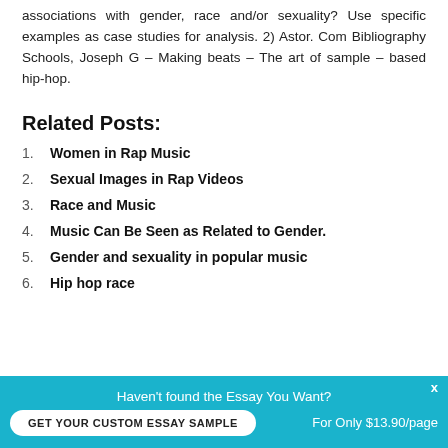associations with gender, race and/or sexuality? Use specific examples as case studies for analysis. 2) Astor. Com Bibliography Schools, Joseph G – Making beats – The art of sample – based hip-hop.
Related Posts:
Women in Rap Music
Sexual Images in Rap Videos
Race and Music
Music Can Be Seen as Related to Gender.
Gender and sexuality in popular music
Hip hop race
Haven't found the Essay You Want?
GET YOUR CUSTOM ESSAY SAMPLE
For Only $13.90/page